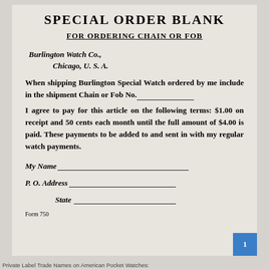SPECIAL ORDER BLANK
FOR ORDERING CHAIN OR FOB
Burlington Watch Co.,
        Chicago, U. S. A.
When shipping Burlington Special Watch ordered by me include in the shipment Chain or Fob No.___
I agree to pay for this article on the following terms: $1.00 on receipt and 50 cents each month until the full amount of $4.00 is paid. These payments to be added to and sent in with my regular watch payments.
My Name___
P. O. Address___
State___
Form 750
Private Label Trade Names on American Pocket Watches: